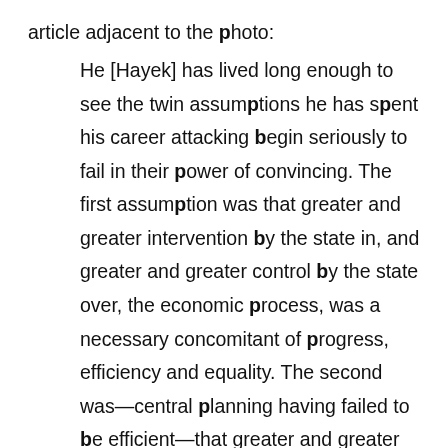article adjacent to the photo:
He [Hayek] has lived long enough to see the twin assumptions he has spent his career attacking begin seriously to fail in their power of convincing. The first assumption was that greater and greater intervention by the state in, and greater and greater control by the state over, the economic process, was a necessary concomitant of progress, efficiency and equality. The second was—central planning having failed to be efficient—that greater and greater regulation by the state of income and rewards was compatible with individual freedom.